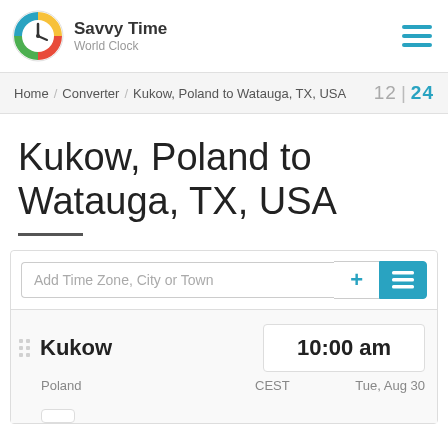Savvy Time World Clock
Home / Converter / Kukow, Poland to Watauga, TX, USA  12 | 24
Kukow, Poland to Watauga, TX, USA
| City | Time | Timezone | Date |
| --- | --- | --- | --- |
| Kukow | 10:00 am | CEST | Tue, Aug 30 |